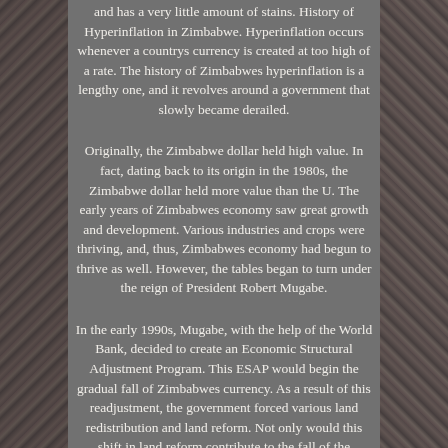and has a very little amount of stains. History of Hyperinflation in Zimbabwe. Hyperinflation occurs whenever a countrys currency is created at too high of a rate. The history of Zimbabwes hyperinflation is a lengthy one, and it revolves around a government that slowly became derailed.
Originally, the Zimbabwe dollar held high value. In fact, dating back to its origin in the 1980s, the Zimbabwe dollar held more value than the U. The early years of Zimbabwes economy saw great growth and development. Various industries and crops were thriving, and, thus, Zimbabwes economy had begun to thrive as well. However, the tables began to turn under the reign of President Robert Mugabe.
In the early 1990s, Mugabe, with the help of the World Bank, decided to create an Economic Structural Adjustment Program. This ESAP would begin the gradual fall of Zimbabwes currency. As a result of this readjustment, the government forced various land redistribution and land reform. Not only would this shift in land reform contribute to the fall of the economy; many claim that Mugabes actions were racist. Mugabes government took away land from white farmers and redistributed it to black farmers as an act of correcting the injustices done by colonialism.